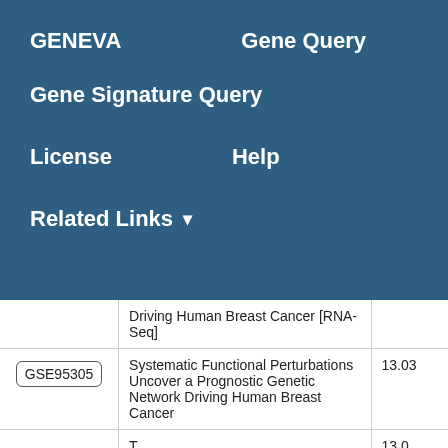GENEVA    Gene Query
Gene Signature Query
License    Help
Related Links ▾
| ID | Title | Score |
| --- | --- | --- |
|  | Driving Human Breast Cancer [RNA-Seq] |  |
| GSE95305 | Systematic Functional Perturbations Uncover a Prognostic Genetic Network Driving Human Breast Cancer | 13.03 |
|  | T... | 13.0 |